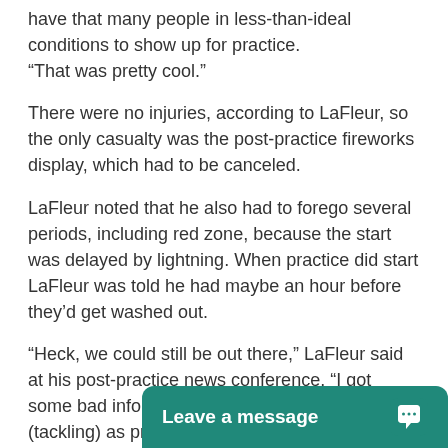have that many people in less-than-ideal conditions to show up for practice.
“That was pretty cool.”
There were no injuries, according to LaFleur, so the only casualty was the post-practice fireworks display, which had to be canceled.
LaFleur noted that he also had to forego several periods, including red zone, because the start was delayed by lightning. When practice did start LaFleur was told he had maybe an hour before they’d get washed out.
“Heck, we could still be out there,” LaFleur said at his post-practice news conference. “I got some bad information, but we did get to go ‘live’ (tackling) as promised, and we got a lot accomplished tonight.”
Once practice unfolded it a
[Figure (other): Leave a message chat widget button in teal/dark green color with speech bubble icon]